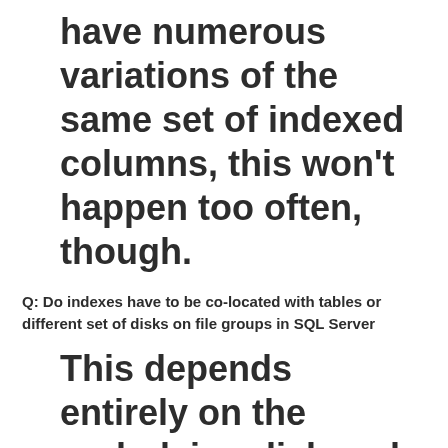have numerous variations of the same set of indexed columns, this won't happen too often, though.
Q: Do indexes have to be co-located with tables or different set of disks on file groups in SQL Server
This depends entirely on the underlying disk and the level of use of the